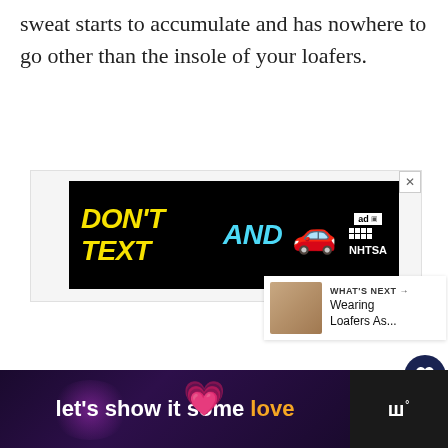sweat starts to accumulate and has nowhere to go other than the insole of your loafers.
[Figure (screenshot): Advertisement banner: DON'T TEXT AND [car emoji] NHTSA in black background with yellow and cyan text. Close button (X) in top right. Ad indicator badge in corner.]
[Figure (infographic): Dark navy circular heart/favorite button icon]
[Figure (infographic): White circular share button with share icon]
[Figure (screenshot): What's Next card with thumbnail image of loafers and text: WHAT'S NEXT → Wearing Loafers As...]
[Figure (screenshot): Bottom advertisement banner on dark purple gradient background: let's show it some love (with pink heart emoji). Weather Channel logo on right side.]